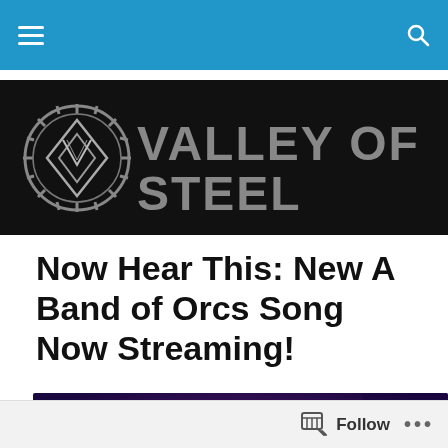Navigation bar with menu and search
[Figure (logo): Valley of Steel logo on black background with gear/diamond emblem]
Now Hear This: New A Band of Orcs Song Now Streaming!
[Figure (illustration): A Band of Orcs band logo/artwork with fantasy orc imagery on purple and red background]
Follow ...